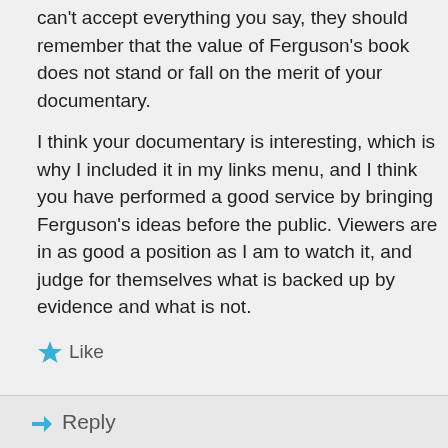can't accept everything you say, they should remember that the value of Ferguson's book does not stand or fall on the merit of your documentary.
I think your documentary is interesting, which is why I included it in my links menu, and I think you have performed a good service by bringing Ferguson's ideas before the public. Viewers are in as good a position as I am to watch it, and judge for themselves what is backed up by evidence and what is not.
Like
Reply